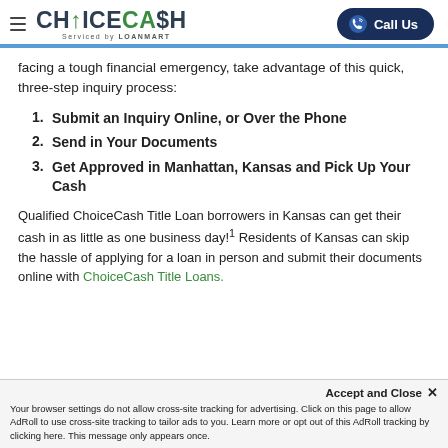CHOICECASH Serviced by LOANMART | Call Us
facing a tough financial emergency, take advantage of this quick, three-step inquiry process:
1. Submit an Inquiry Online, or Over the Phone
2. Send in Your Documents
3. Get Approved in Manhattan, Kansas and Pick Up Your Cash
Qualified ChoiceCash Title Loan borrowers in Kansas can get their cash in as little as one business day!¹ Residents of Kansas can skip the hassle of applying for a loan in person and submit their documents online with ChoiceCash Title Loans.
Accept and Close ✕
Your browser settings do not allow cross-site tracking for advertising. Click on this page to allow AdRoll to use cross-site tracking to tailor ads to you. Learn more or opt out of this AdRoll tracking by clicking here. This message only appears once.